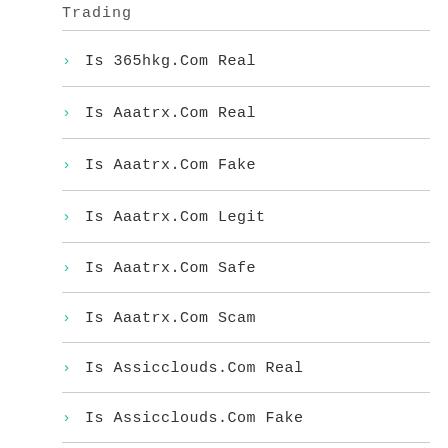Trading
Is 365hkg.Com Real
Is Aaatrx.Com Real
Is Aaatrx.Com Fake
Is Aaatrx.Com Legit
Is Aaatrx.Com Safe
Is Aaatrx.Com Scam
Is Assicclouds.Com Real
Is Assicclouds.Com Fake
Is Assicclouds.Com Legit
Is Assicclouds.Com Safe
Is Assicclouds.Com Scam
Is Btczone.Cc Real